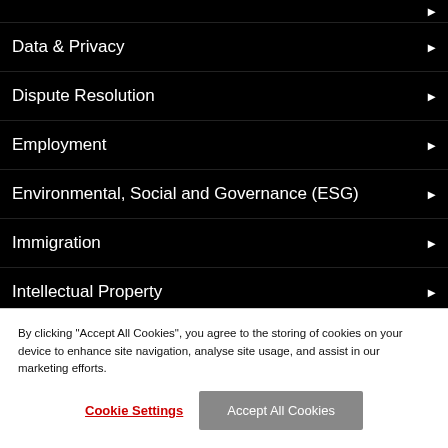Data & Privacy
Dispute Resolution
Employment
Environmental, Social and Governance (ESG)
Immigration
Intellectual Property
Investigations
Partnerships & LLPs
Real Estate
Restructuring & Insolvency
By clicking "Accept All Cookies", you agree to the storing of cookies on your device to enhance site navigation, analyse site usage, and assist in our marketing efforts.